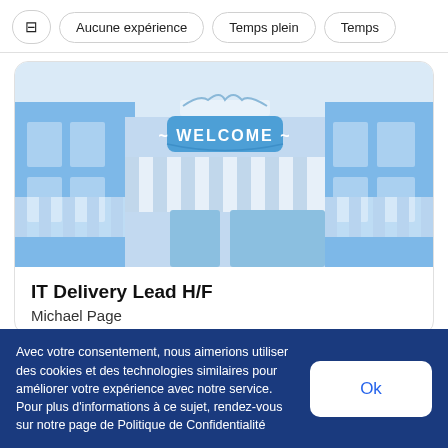Aucune expérience | Temps plein | Temps
[Figure (illustration): Illustrated storefront with blue and white awning and a 'WELCOME' sign in a banner style]
IT Delivery Lead H/F
Michael Page
Avec votre consentement, nous aimerions utiliser des cookies et des technologies similaires pour améliorer votre expérience avec notre service. Pour plus d'informations à ce sujet, rendez-vous sur notre page de Politique de Confidentialité